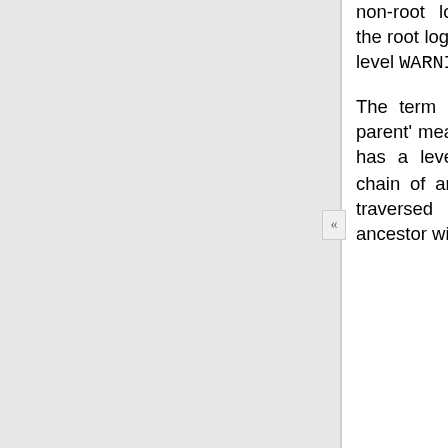non-root logger). Note that the root logger is created with level WARNING.
The term ‘delegation to the parent’ means that if a logger has a level of NOTSET, its chain of ancestor loggers is traversed until either an ancestor with